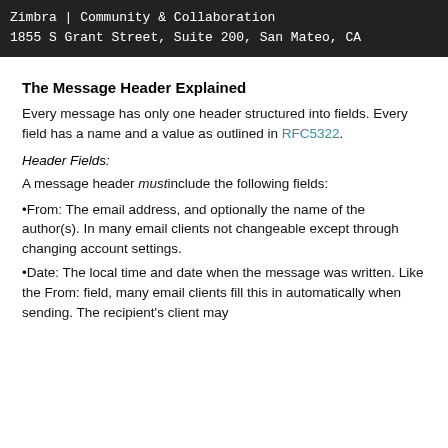Zimbra | Community & Collaboration
1855 S Grant Street, Suite 200, San Mateo, CA
The Message Header Explained
Every message has only one header structured into fields. Every field has a name and a value as outlined in RFC5322.
Header Fields:
A message header must include the following fields:
•From: The email address, and optionally the name of the author(s). In many email clients not changeable except through changing account settings.
•Date: The local time and date when the message was written. Like the From: field, many email clients fill this in automatically when sending. The recipient's client may